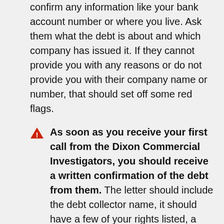confirm any information like your bank account number or where you live. Ask them what the debt is about and which company has issued it. If they cannot provide you with any reasons or do not provide you with their company name or number, that should set off some red flags.
As soon as you receive your first call from the Dixon Commercial Investigators, you should receive a written confirmation of the debt from them. The letter should include the debt collector name, it should have a few of your rights listed, a mailing address, etc.
Do your research. There are times